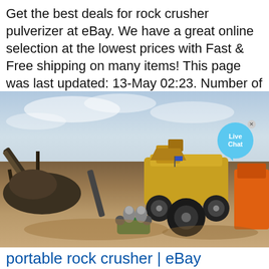Get the best deals for rock crusher pulverizer at eBay. We have a great online selection at the lowest prices with Fast & Free shipping on many items! This page was last updated: 13-May 02:23. Number of bids and bid amounts may be slightly out of date. See
[Figure (photo): Outdoor mining site with rock crushing machinery including a large yellow mobile crusher, conveyor belt, and heavy equipment on a dirt field. A 'Live Chat' bubble overlay is visible in the upper right corner of the image.]
portable rock crusher | eBay
220V Small Hammer Crusher Rock Crushing & Glass Crushing Machine Canada Stock Brand New C $912.00